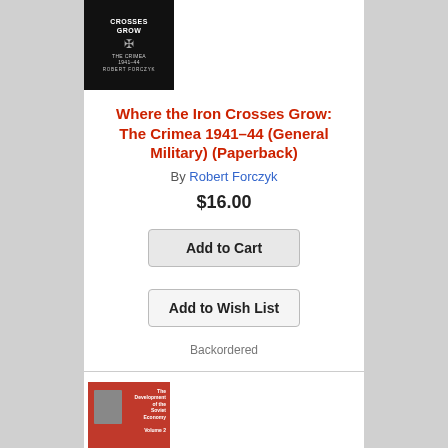[Figure (photo): Book cover: 'Where the Iron Crosses Grow: The Crimea 1941-44' by Robert Forczyk, black cover with white text and iron cross symbol]
Where the Iron Crosses Grow: The Crimea 1941–44 (General Military) (Paperback)
By Robert Forczyk
$16.00
Add to Cart
Add to Wish List
Backordered
[Figure (photo): Book cover: 'The Development of the Soviet Economy Volume 2' with portrait of Stalin on red/white cover]